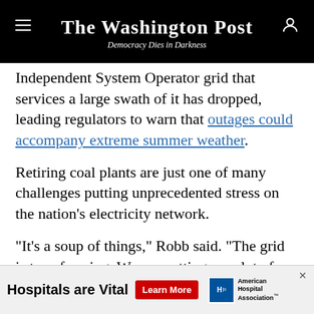The Washington Post — Democracy Dies in Darkness
Independent System Operator grid that services a large swath of it has dropped, leading regulators to warn that outages could accompany extreme summer weather.
Retiring coal plants are just one of many challenges putting unprecedented stress on the nation's electricity network.
“It’s a soup of things,” Robb said. “The grid is transforming. We are putting on a lot of new resources and learning how they behave.” That is compounded, Robb said, by prolonged stretches of extreme weather,
[Figure (other): Advertisement banner: Hospitals are Vital — Learn More — American Hospital Association]